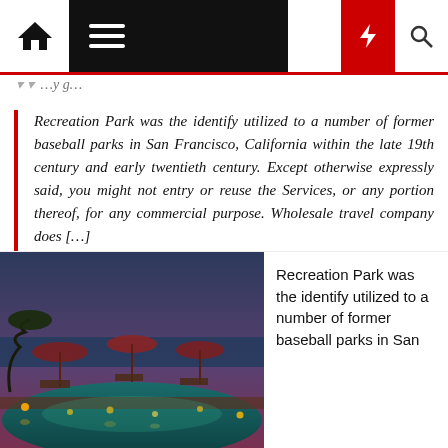Navigation bar with home, menu, moon, lightning, and search icons
…y g…
Recreation Park was the identify utilized to a number of former baseball parks in San Francisco, California within the late 19th century and early twentieth century. Except otherwise expressly said, you might not entry or reuse the Services, or any portion thereof, for any commercial purpose. Wholesale travel company does […]
[Figure (photo): Nighttime resort pool scene with illuminated umbrellas and warm ambient lighting reflecting on the water]
Recreation Park was the identify utilized to a number of former baseball parks in San